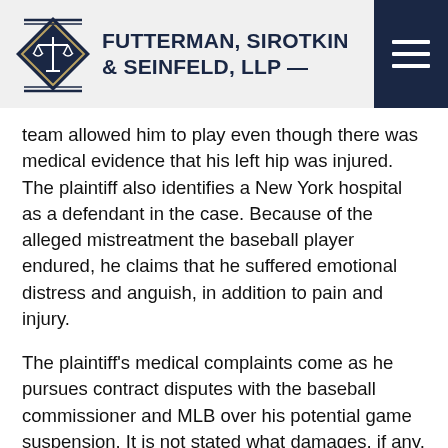FUTTERMAN, SIROTKIN & SEINFELD, LLP
team allowed him to play even though there was medical evidence that his left hip was injured. The plaintiff also identifies a New York hospital as a defendant in the case. Because of the alleged mistreatment the baseball player endured, he claims that he suffered emotional distress and anguish, in addition to pain and injury.
The plaintiff's medical complaints come as he pursues contract disputes with the baseball commissioner and MLB over his potential game suspension. It is not stated what damages, if any, Alex Rodriguez is seeking in